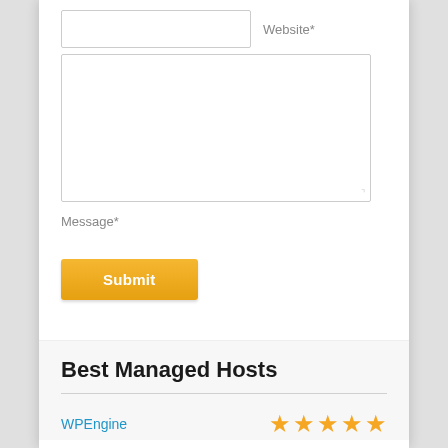[Figure (screenshot): A web form input field for Website with a text input box and label 'Website*']
[Figure (screenshot): A large textarea input box for a comment/message form]
Message*
[Figure (screenshot): A yellow Submit button]
Best Managed Hosts
WPEngine
[Figure (other): Five gold star rating icons]